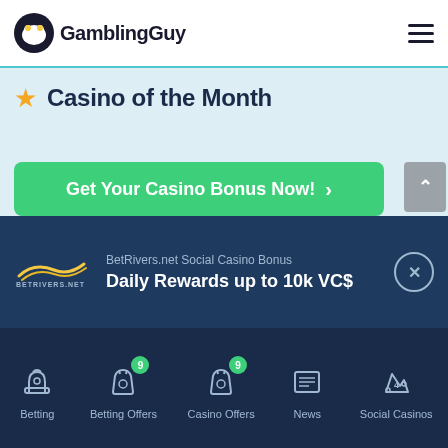GamblingGuy
Casino of the Month
Get Your Casino Bonus Now!
BetRivers.net Social Casino Bonus
Daily Rewards up to 10k VC$
Betting | Betting Offers 9 | Casino Offers 9 | News | Social Casinos